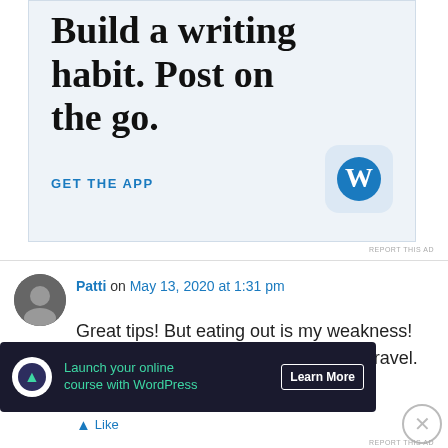[Figure (screenshot): WordPress app advertisement banner with headline 'Build a writing habit. Post on the go.' and a 'GET THE APP' call to action with WordPress logo icon]
REPORT THIS AD
Patti on May 13, 2020 at 1:31 pm
Great tips! But eating out is my weakness! We use a lot of credit card points for travel.
Like
Advertisements
[Figure (screenshot): Dark advertisement banner: 'Launch your online course with WordPress' with 'Learn More' button]